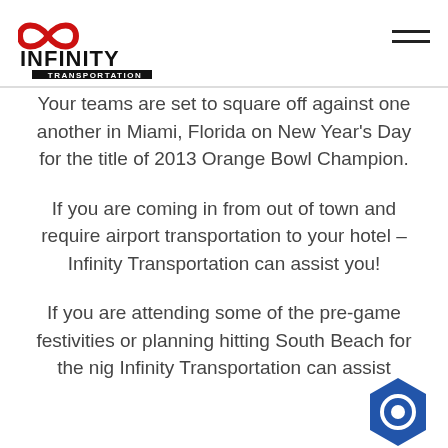Infinity Transportation logo and navigation
Your teams are set to square off against one another in Miami, Florida on New Year's Day for the title of 2013 Orange Bowl Champion.
If you are coming in from out of town and require airport transportation to your hotel – Infinity Transportation can assist you!
If you are attending some of the pre-game festivities or planning hitting South Beach for the night, Infinity Transportation can assist